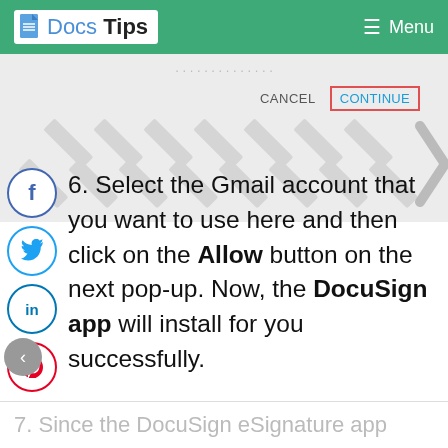Docs Tips | Menu
[Figure (screenshot): Screenshot showing CANCEL and CONTINUE buttons with a pattern of diagonal chevrons/arrows in the background]
6. Select the Gmail account that you want to use here and then click on the Allow button on the next pop-up. Now, the DocuSign app will install for you successfully.
7. Since the DocuSign eSignature app